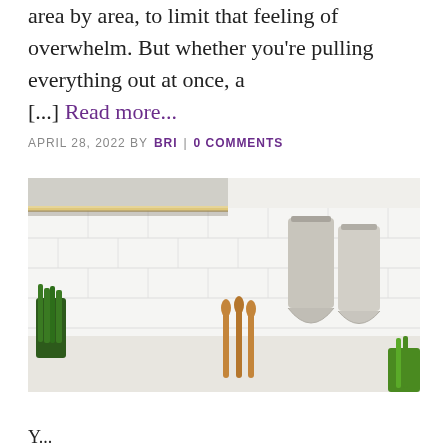area by area, to limit that feeling of overwhelm. But whether you're pulling everything out at once, a [...] Read more...
APRIL 28, 2022 BY BRI | 0 COMMENTS
[Figure (photo): A clean, bright kitchen with white subway tile backsplash, under-cabinet lighting glowing warm yellow, wooden utensils and green herbs on the counter, and two light grey linen towels hanging on the wall.]
Y...